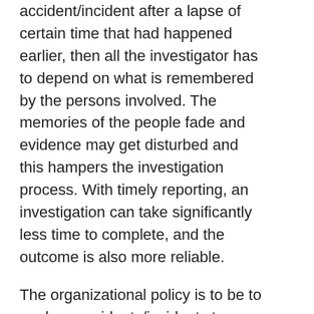accident/incident after a lapse of certain time that had happened earlier, then all the investigator has to depend on what is remembered by the persons involved. The memories of the people fade and evidence may get disturbed and this hampers the investigation process. With timely reporting, an investigation can take significantly less time to complete, and the outcome is also more reliable.
The organizational policy is to be to analyze accidents/incidents to primarily determine how the system deficiencies can be fixed. Accidents/incidents are not to be investigated to determine the liability. A no-fault accident/incident analysis policy helps in ensuring the improvement in all aspects of organizational manufacturing processes.
Accident/incident investigations strengthen the internal